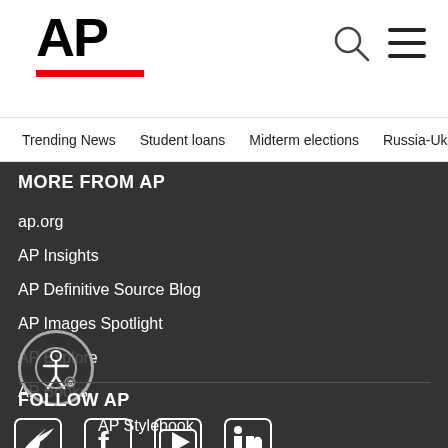AP
Trending News  Student loans  Midterm elections  Russia-Ukr
MORE FROM AP
ap.org
AP Insights
AP Definitive Source Blog
AP Images Spotlight
AP Explore
AP Books
AP Stylebook
FOLLOW AP
[Figure (illustration): Social media icons: Twitter, Facebook, YouTube, LinkedIn]